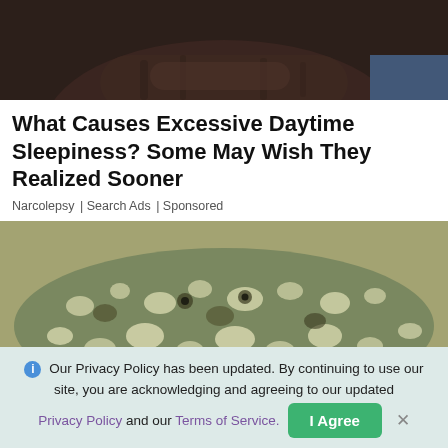[Figure (photo): Top portion of a person sitting, wearing a dark brown hoodie, only torso and crossed arms visible]
What Causes Excessive Daytime Sleepiness? Some May Wish They Realized Sooner
Narcolepsy | Search Ads | Sponsored
[Figure (photo): Close-up underwater photograph of a camouflaged flatfish or flounder resting on sandy ocean floor, with distinctive spotted and mottled pattern]
Our Privacy Policy has been updated. By continuing to use our site, you are acknowledging and agreeing to our updated Privacy Policy and our Terms of Service.